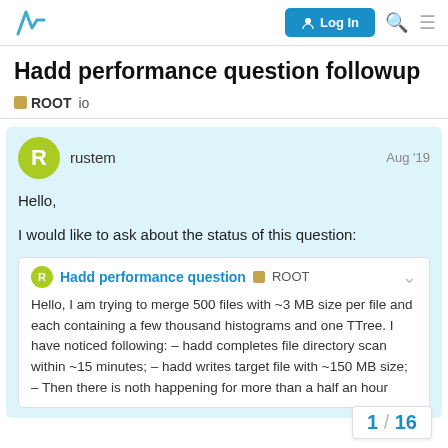Hadd performance question followup — ROOT forum
Hadd performance question followup
ROOT   io
rustem   Aug '19
Hello,
I would like to ask about the status of this question:
Hadd performance question   ROOT
Hello, I am trying to merge 500 files with ~3 MB size per file and each containing a few thousand histograms and one TTree. I have noticed following: – hadd completes file directory scan within ~15 minutes; – hadd writes target file with ~150 MB size; – Then there is noth happening for more than a half an hour
1 / 16